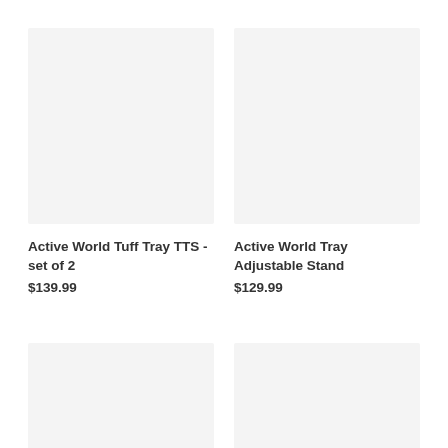[Figure (photo): Product image placeholder for Active World Tuff Tray TTS - set of 2, light grey background]
[Figure (photo): Product image placeholder for Active World Tray Adjustable Stand, light grey background]
Active World Tuff Tray TTS - set of 2
$139.99
Active World Tray Adjustable Stand
$129.99
[Figure (photo): Product image placeholder bottom left, light grey background]
[Figure (photo): Product image placeholder bottom right, light grey background]